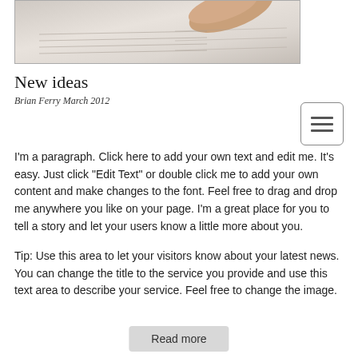[Figure (photo): A close-up photo of a hand turning pages of a document or book, with lined paper visible]
New ideas
Brian Ferry March 2012
I'm a paragraph. Click here to add your own text and edit me. It's easy. Just click "Edit Text" or double click me to add your own content and make changes to the font. Feel free to drag and drop me anywhere you like on your page. I'm a great place for you to tell a story and let your users know a little more about you.
Tip: Use this area to let your visitors know about your latest news. You can change the title to the service you provide and use this text area to describe your service. Feel free to change the image.
Read more